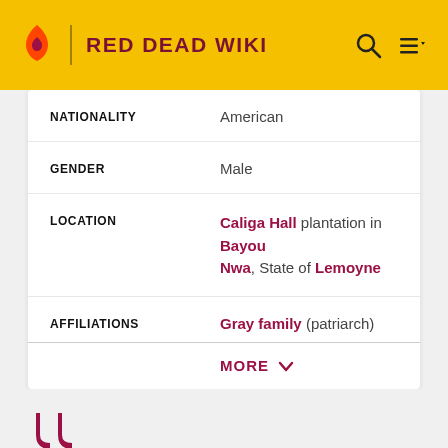RED DEAD WIKI
| Field | Value |
| --- | --- |
| NATIONALITY | American |
| GENDER | Male |
| LOCATION | Caliga Hall plantation in Bayou Nwa, State of Lemoyne |
| AFFILIATIONS | Gray family (patriarch) |
MORE
We haven't recovered as much as I'd hoped from the war. My family try... my sons are good boys, but it's been hard. Like I said, some people in the area will hold